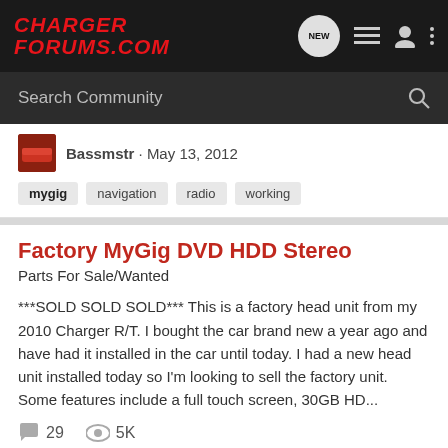CHARGER FORUMS.COM
Search Community
Bassmstr · May 13, 2012
mygig  navigation  radio  working
Factory MyGig DVD HDD Stereo
Parts For Sale/Wanted
***SOLD SOLD SOLD*** This is a factory head unit from my 2010 Charger R/T. I bought the car brand new a year ago and have had it installed in the car until today. I had a new head unit installed today so I'm looking to sell the factory unit. Some features include a full touch screen, 30GB HD...
29  5K
TrialByDeathSquad · Dec 11, 2011
factory  hdd  mygig  radio  stereo